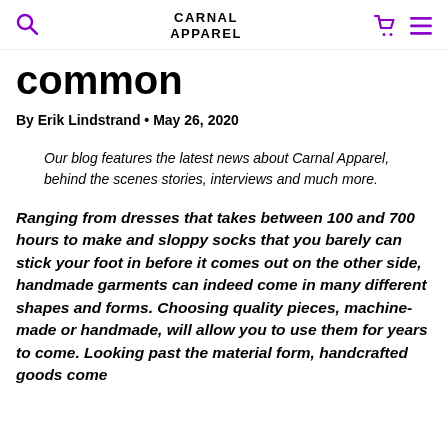CARNAL APPAREL
common
By Erik Lindstrand • May 26, 2020
Our blog features the latest news about Carnal Apparel, behind the scenes stories, interviews and much more.
Ranging from dresses that takes between 100 and 700 hours to make and sloppy socks that you barely can stick your foot in before it comes out on the other side, handmade garments can indeed come in many different shapes and forms. Choosing quality pieces, machine-made or handmade, will allow you to use them for years to come. Looking past the material form, handcrafted goods come